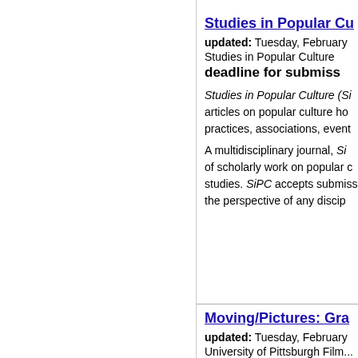Studies in Popular Cu...
updated: Tuesday, February...
Studies in Popular Culture
deadline for submiss...
Studies in Popular Culture (Si... articles on popular culture ho... practices, associations, event...
A multidisciplinary journal, Si... of scholarly work on popular c... studies. SiPC accepts submiss... the perspective of any discip...
Moving/Pictures: Gra...
updated: Tuesday, February...
University of Pittsburgh Film...